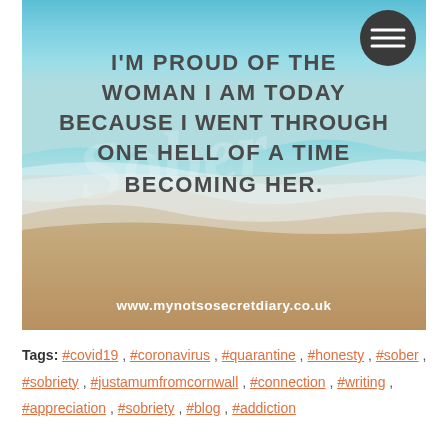[Figure (photo): Beach/ocean aerial photo with text overlay quote: 'I'm proud of the woman I am today because I went through one hell of a time becoming her.' and website URL www.mynotsosecretdiary.co.uk. Teal water at top, sandy beach at bottom, with a hamburger menu button in upper right.]
Tags:  #covid19 ,  #coronavirus ,  #quarantine ,  #honesty ,  #sober ,  #sobriety ,  #justamumfromcornwall ,  #connection ,  #writing ,  #appreciation ,  #sobriety ,  #blog ,  #addiction